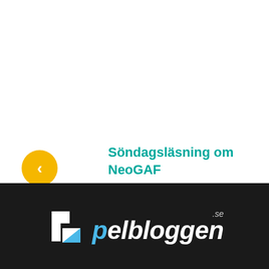Söndagsläsning om NeoGAF
Sony mutar Notch
[Figure (logo): Spelbloggen.se logo with blue and white arrow icon on black background]